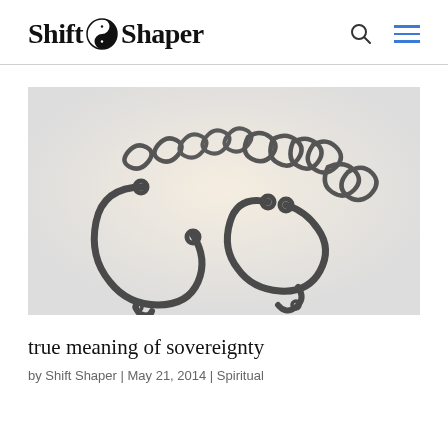Shift Shaper
[Figure (photo): Black and white photograph of iron shackles/chains with two wrist cuffs connected by chain links, on a light background]
true meaning of sovereignty
by Shift Shaper | May 21, 2014 | Spiritual